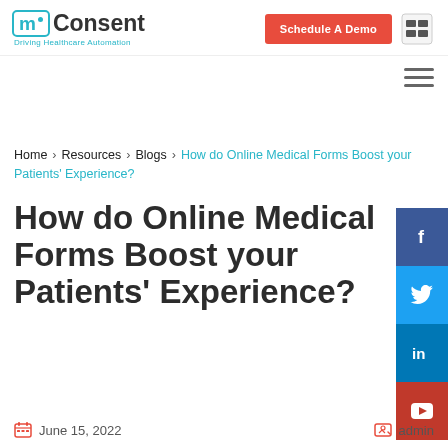[Figure (logo): mConsent logo with tagline 'Driving Healthcare Automation']
[Figure (illustration): Schedule A Demo red button and phone icon]
[Figure (infographic): Hamburger menu icon (three horizontal lines)]
[Figure (infographic): Social media sidebar with Facebook, Twitter, LinkedIn, YouTube icons]
Home > Resources > Blogs > How do Online Medical Forms Boost your Patients' Experience?
How do Online Medical Forms Boost your Patients' Experience?
June 15, 2022
admin